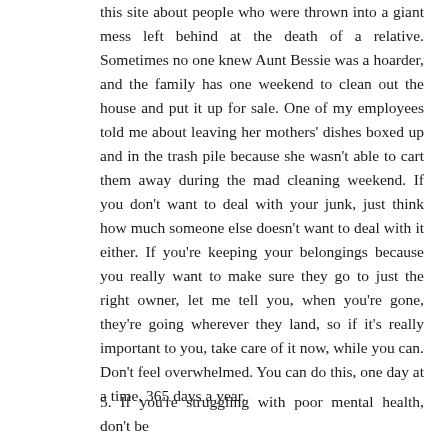this site about people who were thrown into a giant mess left behind at the death of a relative. Sometimes no one knew Aunt Bessie was a hoarder, and the family has one weekend to clean out the house and put it up for sale. One of my employees told me about leaving her mothers' dishes boxed up and in the trash pile because she wasn't able to cart them away during the mad cleaning weekend. If you don't want to deal with your junk, just think how much someone else doesn't want to deal with it either. If you're keeping your belongings because you really want to make sure they go to just the right owner, let me tell you, when you're gone, they're going wherever they land, so if it's really important to you, take care of it now, while you can. Don't feel overwhelmed. You can do this, one day at a time, 365 days a year.
5. If you're struggling with poor mental health, don't be